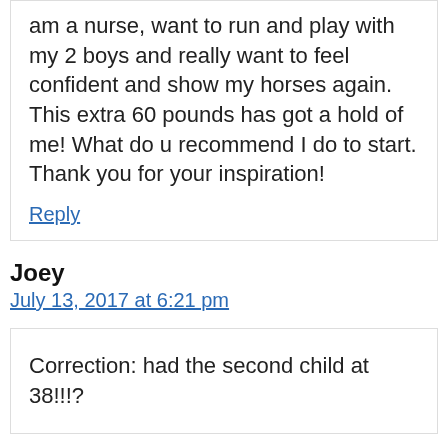am a nurse, want to run and play with my 2 boys and really want to feel confident and show my horses again. This extra 60 pounds has got a hold of me! What do u recommend I do to start. Thank you for your inspiration!
Reply
Joey
July 13, 2017 at 6:21 pm
Correction: had the second child at 38!!!?